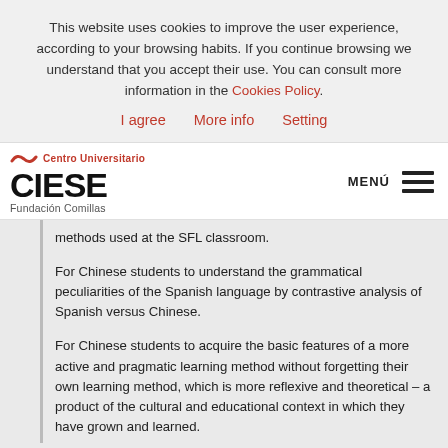This website uses cookies to improve the user experience, according to your browsing habits. If you continue browsing we understand that you accept their use. You can consult more information in the Cookies Policy.
I agree   More info   Setting
[Figure (logo): CIESE Fundación Comillas logo with Centro Universitario text and red wave icon]
MENÚ
methods used at the SFL classroom.
For Chinese students to understand the grammatical peculiarities of the Spanish language by contrastive analysis of Spanish versus Chinese.
For Chinese students to acquire the basic features of a more active and pragmatic learning method without forgetting their own learning method, which is more reflexive and theoretical – a product of the cultural and educational context in which they have grown and learned.